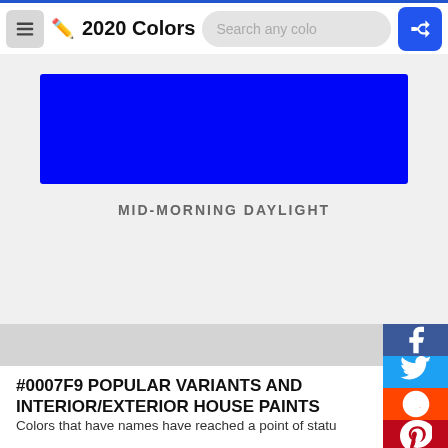2020 Colors
[Figure (illustration): Blue color swatch rectangle (#0007f9 / Mid-Morning Daylight) displayed on a light gray background]
MID-MORNING DAYLIGHT
#0007F9 POPULAR VARIANTS AND INTERIOR/EXTERIOR HOUSE PAINTS
Colors that have names have reached a point of status where they're more than just a hex code: they're real- associated.
#0007f9 might be precisely the color you're looking for the colors below are a close match. What's better is th